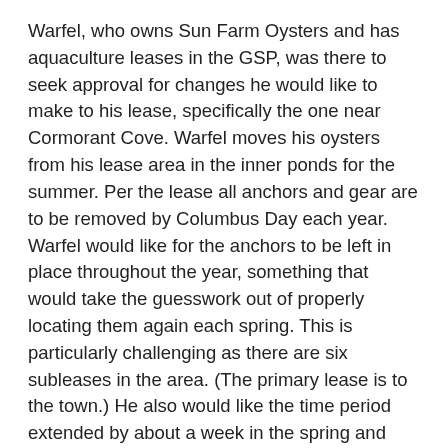Warfel, who owns Sun Farm Oysters and has aquaculture leases in the GSP, was there to seek approval for changes he would like to make to his lease, specifically the one near Cormorant Cove. Warfel moves his oysters from his lease area in the inner ponds for the summer. Per the lease all anchors and gear are to be removed by Columbus Day each year.
Warfel would like for the anchors to be left in place throughout the year, something that would take the guesswork out of properly locating them again each spring. This is particularly challenging as there are six subleases in the area. (The primary lease is to the town.) He also would like the time period extended by about a week in the spring and into November in the fall. This would give him more time to move the oysters, he said. Other changes are to how the leases are marked, and who supplies the markers.
Corey said: "It's such an isolated place, why shouldn't it be